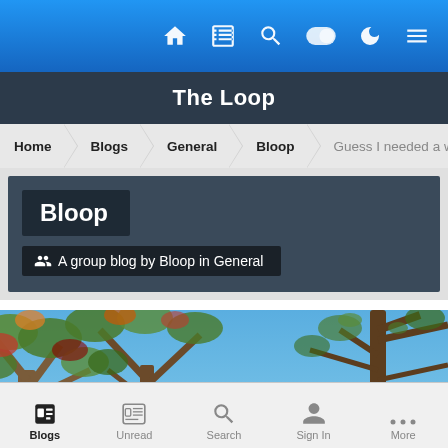Top navigation bar with icons: Home, News, Search, Toggle, Dark mode, Menu
The Loop
Home > Blogs > General > Bloop > Guess I needed a week off anyw...
Bloop
👥 A group blog by Bloop in General
[Figure (photo): Outdoor photo of trees with autumn foliage and red/orange leaves against a blue sky, taken from a low angle looking up.]
Blogs | Unread | Search | Sign In | More